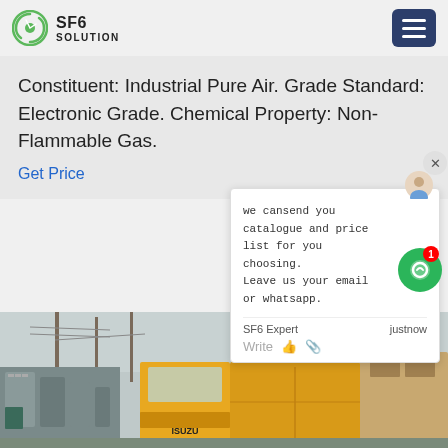SF6 SOLUTION
Constituent: Industrial Pure Air. Grade Standard: Electronic Grade. Chemical Property: Non-Flammable Gas.
Get Price
we cansend you catalogue and price list for you choosing. Leave us your email or whatsapp.
SF6 Expert   justnow
Write
[Figure (photo): Workers in blue hard hats and uniforms at an electrical substation, with an ISUZU yellow truck visible and high-voltage transmission towers in the background.]